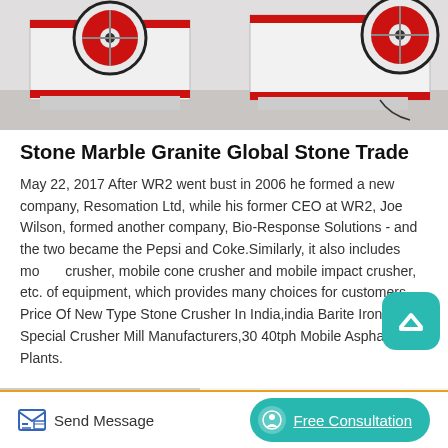[Figure (photo): Photo of white and red stone crusher machines with large red flywheel wheels, industrial equipment on a factory floor.]
Stone Marble Granite Global Stone Trade
May 22, 2017 After WR2 went bust in 2006 he formed a new company, Resomation Ltd, while his former CEO at WR2, Joe Wilson, formed another company, Bio-Response Solutions - and the two became the Pepsi and Coke.Similarly, it also includes mobile crusher, mobile cone crusher and mobile impact crusher, etc. of equipment, which provides many choices for customers. Price Of New Type Stone Crusher In India,india Barite Iron Ore Special Crusher Mill Manufacturers,30 40tph Mobile Asphalt Plants.
[Figure (photo): Photo of red and white industrial crusher or mill machinery, close-up view showing red body and white frame structure.]
Send Message
Free Consultation